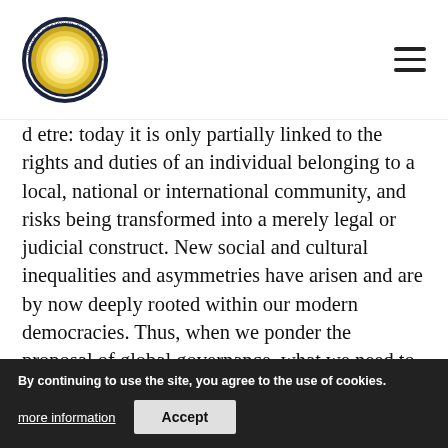World Complexity Science Academy
d etre: today it is only partially linked to the rights and duties of an individual belonging to a local, national or international community, and risks being transformed into a merely legal or judicial construct. New social and cultural inequalities and asymmetries have arisen and are by now deeply rooted within our modern democracies. Thus, when we ponder the proposal of global governance, what we need to... global citizenship can become... if... another illusion. A further point for reflection is that the
By continuing to use the site, you agree to the use of cookies.
more information
Accept